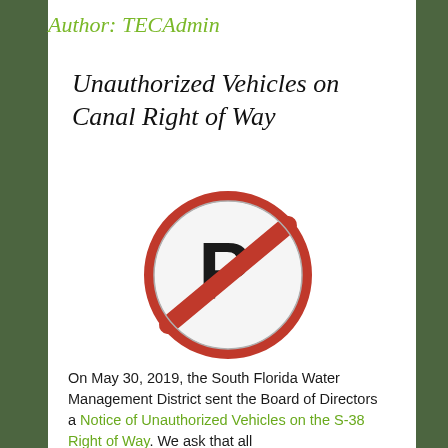Author: TECAdmin
Unauthorized Vehicles on Canal Right of Way
[Figure (illustration): A no-parking sign: red circle with a diagonal red stripe over a black letter P on white background]
On May 30, 2019, the South Florida Water Management District sent the Board of Directors a Notice of Unauthorized Vehicles on the S-38 Right of Way. We ask that all...